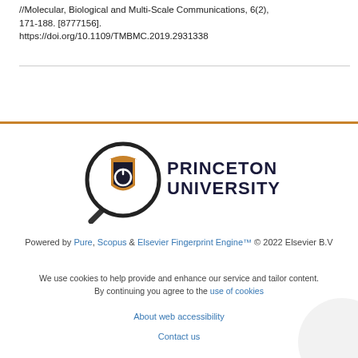//Molecular, Biological and Multi-Scale Communications, 6(2), 171-188. [8777156]. https://doi.org/10.1109/TMBMC.2019.2931338
[Figure (logo): Princeton University logo with magnifying glass and shield icon, bold text PRINCETON UNIVERSITY]
Powered by Pure, Scopus & Elsevier Fingerprint Engine™ © 2022 Elsevier B.V
We use cookies to help provide and enhance our service and tailor content. By continuing you agree to the use of cookies
About web accessibility
Contact us